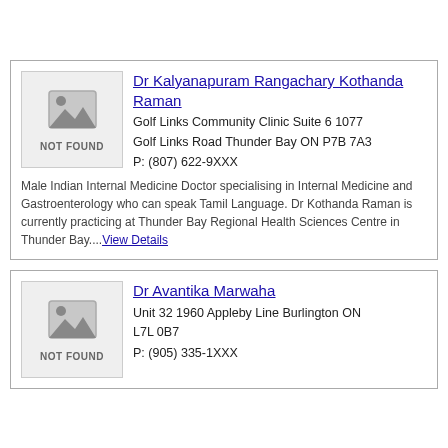[Figure (other): NOT FOUND placeholder image with mountain/landscape icon for Dr Kalyanapuram Rangachary Kothanda Raman]
Dr Kalyanapuram Rangachary Kothanda Raman
Golf Links Community Clinic Suite 6 1077
Golf Links Road Thunder Bay ON P7B 7A3
P: (807) 622-9XXX
Male Indian Internal Medicine Doctor specialising in Internal Medicine and Gastroenterology who can speak Tamil Language. Dr Kothanda Raman is currently practicing at Thunder Bay Regional Health Sciences Centre in Thunder Bay....View Details
[Figure (other): NOT FOUND placeholder image with mountain/landscape icon for Dr Avantika Marwaha]
Dr Avantika Marwaha
Unit 32 1960 Appleby Line Burlington ON
L7L 0B7
P: (905) 335-1XXX